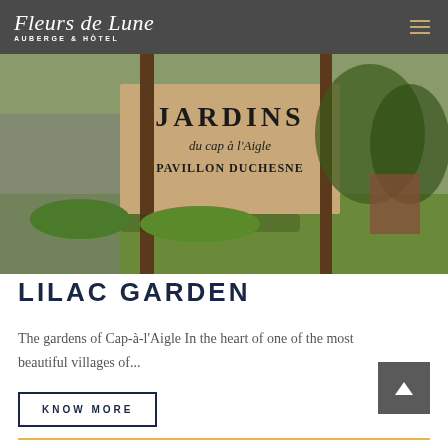Fleurs de Lune AUBERGE & HÔTEL
[Figure (photo): Outdoor garden sign reading 'JARDINS du cap à l'Aigle PAVILLON DUCHESNE' surrounded by greenery and trees]
LILAC GARDEN
The gardens of Cap-à-l'Aigle In the heart of one of the most beautiful villages of...
KNOW MORE